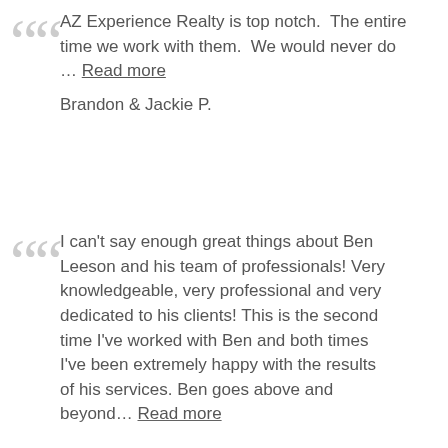AZ Experience Realty is top notch. The entire time we work with them. We would never do … Read more
Brandon & Jackie P.
I can't say enough great things about Ben Leeson and his team of professionals! Very knowledgeable, very professional and very dedicated to his clients! This is the second time I've worked with Ben and both times I've been extremely happy with the results of his services. Ben goes above and beyond… Read more